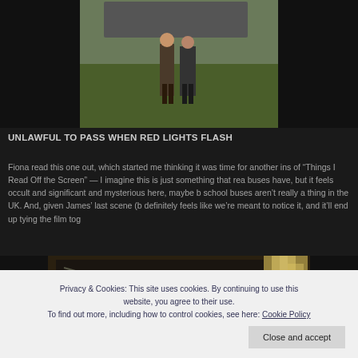[Figure (photo): Top portion of a film still showing two people standing on grass near a vehicle, dark background on sides]
UNLAWFUL TO PASS WHEN RED LIGHTS FLASH
Fiona read this one out, which started me thinking it was time for another ins of "Things I Read Off the Screen" — I imagine this is just something that rea buses have, but it feels occult and significant and mysterious here, maybe b school buses aren't really a thing in the UK. And, given James' last scene (b definitely feels like we're meant to notice it, and it'll end up tying the film tog
[Figure (photo): Film still showing the exterior of a building or vehicle at night with dramatic lighting]
Privacy & Cookies: This site uses cookies. By continuing to use this website, you agree to their use.
To find out more, including how to control cookies, see here: Cookie Policy
Close and accept